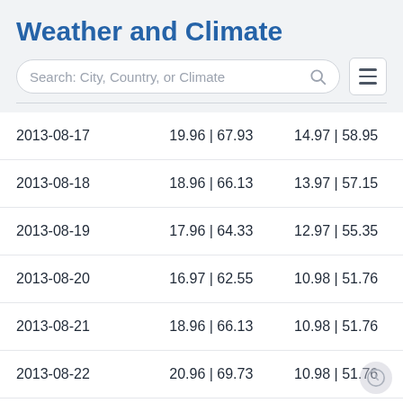Weather and Climate
| Date | Col2 | Col3 |
| --- | --- | --- |
| 2013-08-17 | 19.96 | 67.93 | 14.97 | 58.95 |
| 2013-08-18 | 18.96 | 66.13 | 13.97 | 57.15 |
| 2013-08-19 | 17.96 | 64.33 | 12.97 | 55.35 |
| 2013-08-20 | 16.97 | 62.55 | 10.98 | 51.76 |
| 2013-08-21 | 18.96 | 66.13 | 10.98 | 51.76 |
| 2013-08-22 | 20.96 | 69.73 | 10.98 | 51.76 |
| 2013-08-23 | 20.96 | 69.73 | 11.98 | 53.56 |